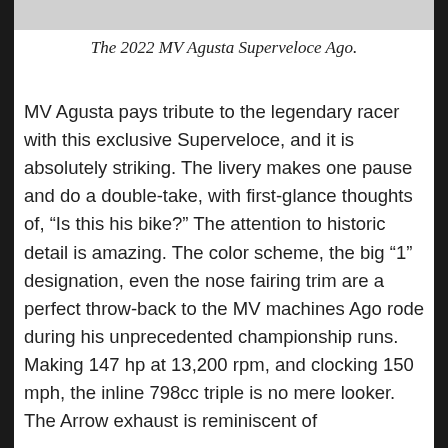[Figure (photo): Top portion of a photo of the 2022 MV Agusta Superveloce Ago motorcycle, partially cropped]
The 2022 MV Agusta Superveloce Ago.
MV Agusta pays tribute to the legendary racer with this exclusive Superveloce, and it is absolutely striking. The livery makes one pause and do a double-take, with first-glance thoughts of, “Is this his bike?” The attention to historic detail is amazing. The color scheme, the big “1” designation, even the nose fairing trim are a perfect throw-back to the MV machines Ago rode during his unprecedented championship runs. Making 147 hp at 13,200 rpm, and clocking 150 mph, the inline 798cc triple is no mere looker. The Arrow exhaust is reminiscent of